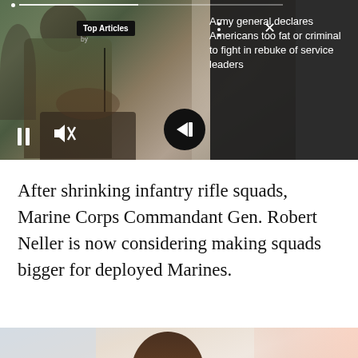[Figure (screenshot): Video thumbnail of an Army general in military camouflage uniform speaking at a podium, with a 'Top Articles' overlay badge, navigation controls (pause, mute, next arrow), and a dark panel on the right showing a news headline.]
Army general declares Americans too fat or criminal to fight in rebuke of service leaders
After shrinking infantry rifle squads, Marine Corps Commandant Gen. Robert Neller is now considering making squads bigger for deployed Marines.
[Figure (photo): Photo of a man (likely a military officer or official) in a light-colored room, appears to be speaking or presenting. The bottom portion of the image is partially cut off showing another figure.]